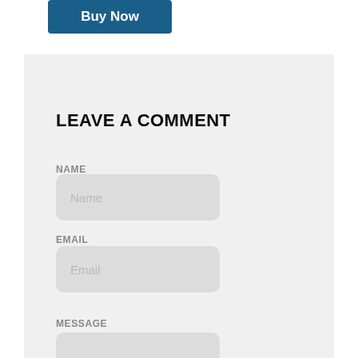[Figure (other): Blue 'Buy Now' button with white bold text, partially cropped at top]
LEAVE A COMMENT
NAME
[Figure (other): Text input field with placeholder 'Name']
EMAIL
[Figure (other): Text input field with placeholder 'Email']
MESSAGE
[Figure (other): Message input field, partially cropped at bottom]